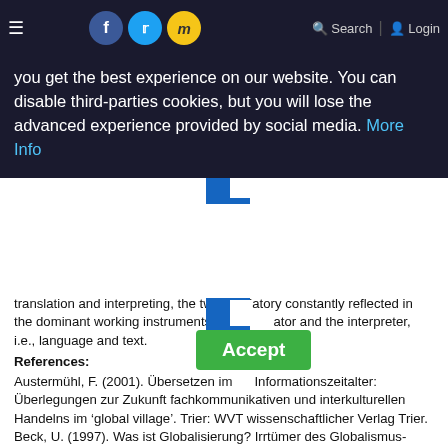≡  [Facebook] [Twitter] [m]  🔍 Search  👤 Login
you get the best experience on our website. You can disable third-parties cookies, but you will lose the advanced experience provided by social media. More Info
translation and interpreting, the two mediatory constantly reflected in the dominant working instruments of the translator and the interpreter, i.e., language and text.
References:
Austermühl, F. (2001). Übersetzen im Informationszeitalter: Überlegungen zur Zukunft fachkommunikativen und interkulturellen Handelns im 'global village'. Trier: WVT wissenschaftlicher Verlag Trier.
Beck, U. (1997). Was ist Globalisierung? Irrtümer des Globalismus-Antworten auf Globalisierung. Frankfurt am Main: Suhrkamp.
Bhabha, H. K. (1999). One of Us. In H. Ziegler (Ed.), The translatability of cultures: proceedings of the Fifth Stuttgart Seminar in Cultural Studies, 03.08.-13.08.1998/Stuttgart Seminar in Cultural Studies (pp 107-123). Stuttgart: Metzler.
Bhabha, H. K. (2000). Die Verortung der Kultur. Tübingen: Stauffenburg.
Cronin, M. (2003). Translation and Globalization. London/New York: Routledge.
Esselink, B. (2000). A Practical Guide to Localization. Amsterdam/Philadelphia: Benjamins.
Göpferich, S. (2002). Textproduktion im Zeitalter der Globalisierung. Entwicklung einer Didaktik des Wissenstransfers. Tübingen: Stauffenburg.
Göhring, H. (2002). Interkulturelle Kommunikation: Anregungen für Sprach- und